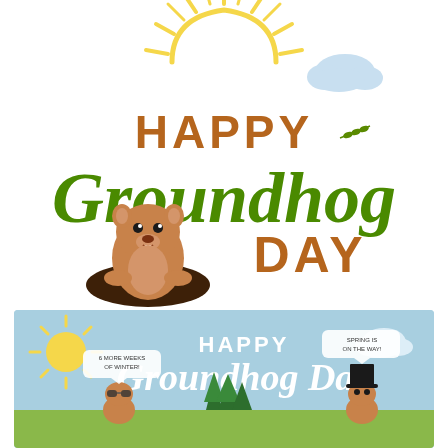[Figure (illustration): Happy Groundhog Day illustration on white background: sun with rays at top center, a cloud upper right, decorative olive branch, text 'HAPPY Groundhog DAY' in green and brown lettering, groundhog emerging from a hole at bottom left of text]
[Figure (illustration): Happy Groundhog Day banner on light blue background: sun with rays at left, white script text 'HAPPY Groundhog Day', cloud at upper right, two groundhog characters at bottom with speech bubbles ('6 more weeks of winter!' and 'Spring is on the way!'), pine trees in center]